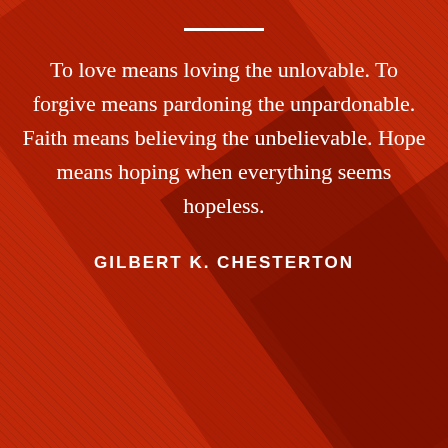To love means loving the unlovable. To forgive means pardoning the unpardonable. Faith means believing the unbelievable. Hope means hoping when everything seems hopeless.
GILBERT K. CHESTERTON